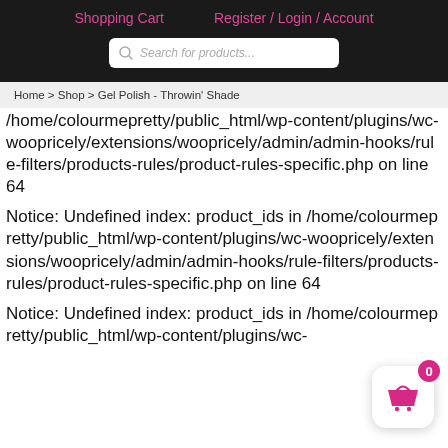Shopping Cart   Register / Login / Account
[Figure (screenshot): Search bar with placeholder text 'Search for products...' on dark header background]
Home > Shop > Gel Polish - Throwin' Shade
/home/colourmepretty/public_html/wp-content/plugins/wc-woopricely/extensions/woopricely/admin/admin-hooks/rule-filters/products-rules/product-rules-specific.PHP on line 64
Notice: Undefined index: product_ids in /home/colourmepretty/public_html/wp-content/plugins/wc-woopricely/extensions/woopricely/admin/admin-hooks/rule-filters/products-rules/product-rules-specific.PHP on line 64
Notice: Undefined index: product_ids in /home/colourmepretty/public_html/wp-content/plugins/wc-